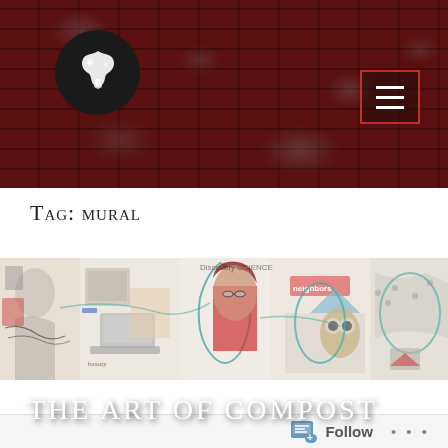[Figure (photo): Dark red brick textured header banner with white abstract logo on black circle and hamburger menu button with red border]
THE ART OF COMPOST
Tag: mural
[Figure (photo): Wide horizontal mural artwork showing collaged figures, portraits, drawings, and mixed media elements on a white background with teal wire-like outlines]
Follow ...